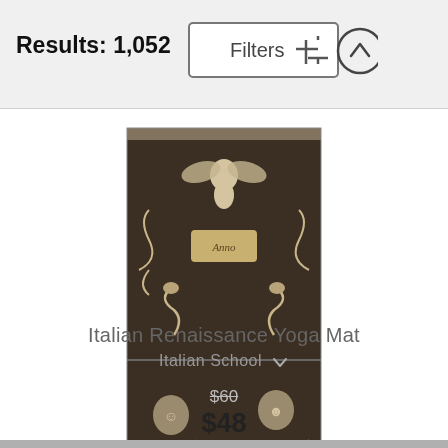Results: 1,052
[Figure (screenshot): Filters button with sliders icon]
[Figure (photo): Italian Renaissance ornamental art product image on yoga mat — dark brown background with classical cherub, dragons, scrollwork, and decorative motifs]
Italian Renaissance Yoga Mat
Italian School
$60
$48